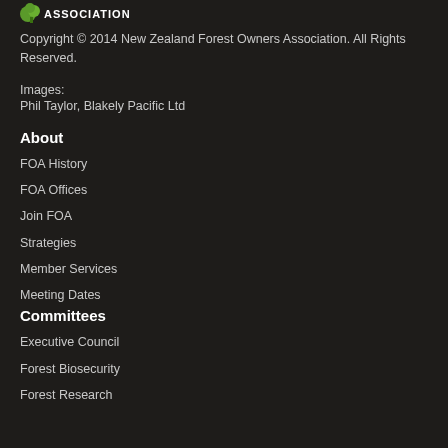[Figure (logo): New Zealand Forest Owners Association logo with green leaf/tree icon and white text 'ASSOCIATION']
Copyright © 2014 New Zealand Forest Owners Association. All Rights Reserved.
Images:
Phil Taylor, Blakely Pacific Ltd
About
FOA History
FOA Offices
Join FOA
Strategies
Member Services
Meeting Dates
Committees
Executive Council
Forest Biosecurity
Forest Research